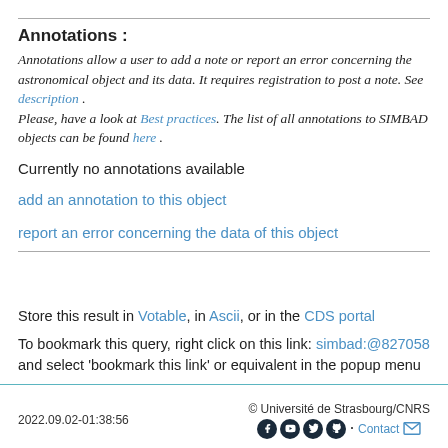Annotations :
Annotations allow a user to add a note or report an error concerning the astronomical object and its data. It requires registration to post a note. See description . Please, have a look at Best practices. The list of all annotations to SIMBAD objects can be found here .
Currently no annotations available
add an annotation to this object
report an error concerning the data of this object
Store this result in Votable, in Ascii, or in the CDS portal
To bookmark this query, right click on this link: simbad:@827058 and select 'bookmark this link' or equivalent in the popup menu
2022.09.02-01:38:56   © Université de Strasbourg/CNRS   Contact